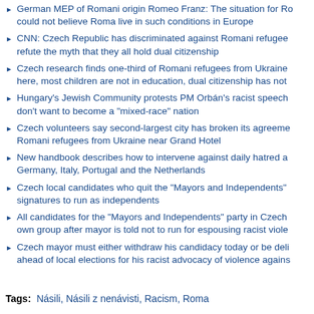German MEP of Romani origin Romeo Franz: The situation for Ro... could not believe Roma live in such conditions in Europe
CNN: Czech Republic has discriminated against Romani refugee... refute the myth that they all hold dual citizenship
Czech research finds one-third of Romani refugees from Ukraine here, most children are not in education, dual citizenship has not
Hungary's Jewish Community protests PM Orbán's racist speech don't want to become a "mixed-race" nation
Czech volunteers say second-largest city has broken its agreeme... Romani refugees from Ukraine near Grand Hotel
New handbook describes how to intervene against daily hatred a... Germany, Italy, Portugal and the Netherlands
Czech local candidates who quit the "Mayors and Independents"... signatures to run as independents
All candidates for the "Mayors and Independents" party in Czech own group after mayor is told not to run for espousing racist viole...
Czech mayor must either withdraw his candidacy today or be deli... ahead of local elections for his racist advocacy of violence agains...
Tags: Násili, Násili z nenávisti, Racism, Roma